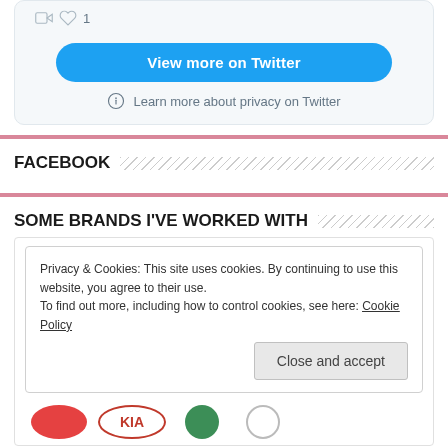[Figure (screenshot): Twitter widget card showing view more button and privacy notice. Top shows icons (retweet/heart with count 1). Blue rounded button 'View more on Twitter'. Info icon with 'Learn more about privacy on Twitter'.]
FACEBOOK
SOME BRANDS I'VE WORKED WITH
Privacy & Cookies: This site uses cookies. By continuing to use this website, you agree to their use. To find out more, including how to control cookies, see here: Cookie Policy
[Figure (logo): Brand logos row: partial red logo (Kia-style), KIA logo, green circular logo, another partial logo]